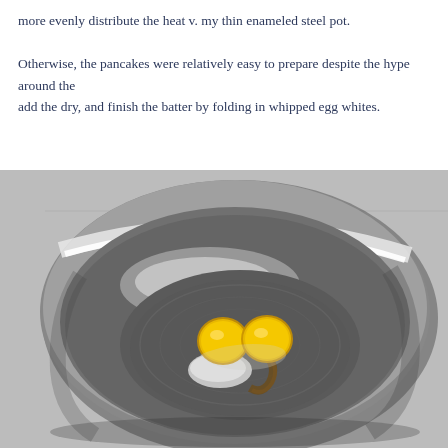more evenly distribute the heat v. my thin enameled steel pot.

Otherwise, the pancakes were relatively easy to prepare despite the hype around the add the dry, and finish the batter by folding in whipped egg whites.
[Figure (photo): Top-down photo of a stainless steel mixing bowl containing two egg yolks and some white powder and liquid at the bottom of the bowl, resting on a grey surface.]